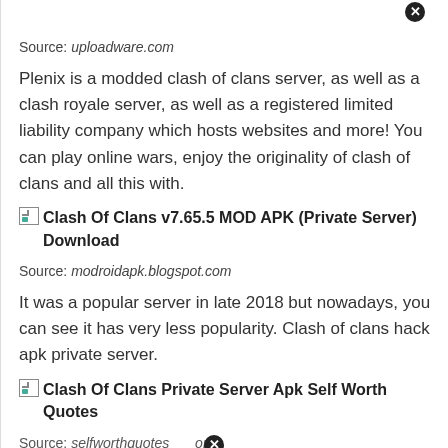Source: uploadware.com
Plenix is a modded clash of clans server, as well as a clash royale server, as well as a registered limited liability company which hosts websites and more! You can play online wars, enjoy the originality of clash of clans and all this with.
[Figure (photo): Image placeholder for Clash Of Clans v7.65.5 MOD APK (Private Server) Download]
Source: modroidapk.blogspot.com
It was a popular server in late 2018 but nowadays, you can see it has very less popularity. Clash of clans hack apk private server.
[Figure (photo): Image placeholder for Clash Of Clans Private Server Apk Self Worth Quotes]
Source: selfworthquotes.com